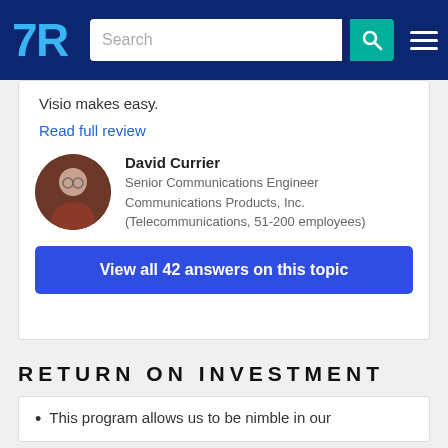TrustRadius — Search navigation bar
Visio makes easy.
Read full review
David Currier
Senior Communications Engineer
Communications Products, Inc.
(Telecommunications, 51-200 employees)
View all 42 answers on this topic
RETURN ON INVESTMENT
This program allows us to be nimble in our